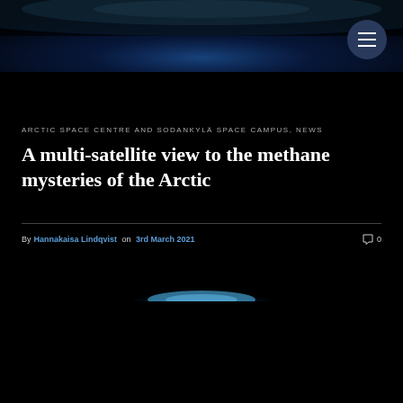[Figure (photo): Dark space/Earth atmosphere banner image at top of page with blue glowing horizon]
[Figure (other): Circular dark blue menu/hamburger button with three horizontal lines]
ARCTIC SPACE CENTRE AND SODANKYLÄ SPACE CAMPUS, NEWS
A multi-satellite view to the methane mysteries of the Arctic
By Hannakaisa Lindqvist on 3rd March 2021   0
[Figure (photo): Small Earth horizon glow image — blue atmospheric glow against black space background]